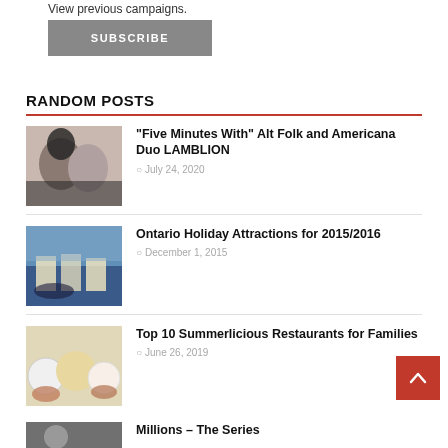View previous campaigns.
SUBSCRIBE
RANDOM POSTS
“Five Minutes With” Alt Folk and Americana Duo LAMBLION — July 24, 2020
Ontario Holiday Attractions for 2015/2016 — December 1, 2015
Top 10 Summerlicious Restaurants for Families — June 26, 2019
Millions – The Series